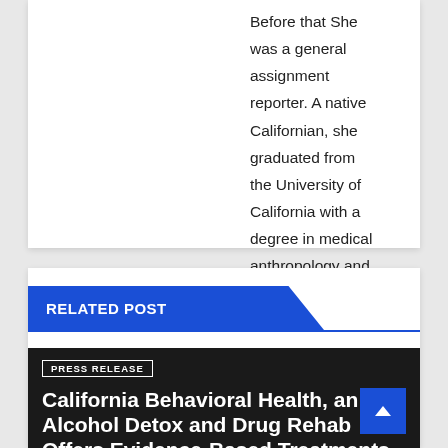Before that She was a general assignment reporter. A native Californian, she graduated from the University of California with a degree in medical anthropology and global health. She currently lives in Los Angeles.
RELATED POST
PRESS RELEASE
California Behavioral Health, an Alcohol Detox and Drug Rehab Offers Evidence-Based Treatments in